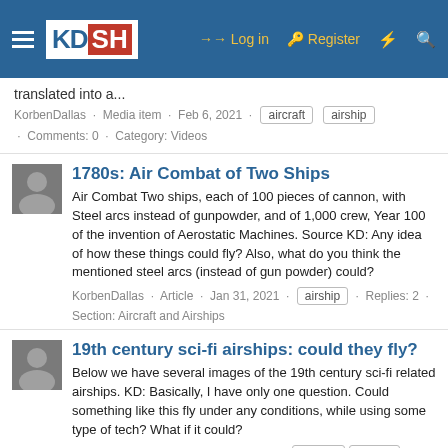KDSH · Log in · Register
translated into a...
KorbenDallas · Media item · Feb 6, 2021 · aircraft · airship · Comments: 0 · Category: Videos
1780s: Air Combat of Two Ships
Air Combat Two ships, each of 100 pieces of cannon, with Steel arcs instead of gunpowder, and of 1,000 crew, Year 100 of the invention of Aerostatic Machines. Source KD: Any idea of how these things could fly? Also, what do you think the mentioned steel arcs (instead of gun powder) could?
KorbenDallas · Article · Jan 31, 2021 · airship · Replies: 2 · Section: Aircraft and Airships
19th century sci-fi airships: could they fly?
Below we have several images of the 19th century sci-fi related airships. KD: Basically, I have only one question. Could something like this fly under any conditions, while using some type of tech? What if it could?
KorbenDallas · Article · Nov 6, 2020 · aircraft · airship · Replies: